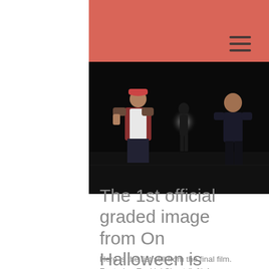[Figure (screenshot): Navigation hamburger menu icon (three horizontal lines) on salmon/coral pink background]
[Figure (photo): Dark night scene still from film 'On Halloween' showing three people outdoors at night. A man in a red plaid shirt and cap stands on the left, a backlit figure with a light stands in the background center, and a man in a dark shirt stands on the right.]
The 1st official graded image from On Halloween is here!
Here is the fist still from the final film. Featuring Ezekiel Simat (left) Anna Bauert (middle) and Conor Fogarty (right). The very